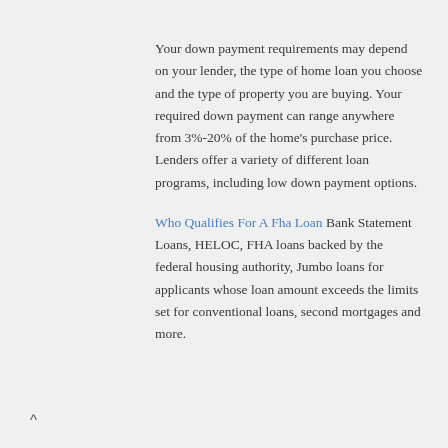Your down payment requirements may depend on your lender, the type of home loan you choose and the type of property you are buying. Your required down payment can range anywhere from 3%-20% of the home's purchase price. Lenders offer a variety of different loan programs, including low down payment options.
Who Qualifies For A Fha Loan Bank Statement Loans, HELOC, FHA loans backed by the federal housing authority, Jumbo loans for applicants whose loan amount exceeds the limits set for conventional loans, second mortgages and more.